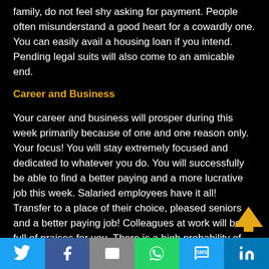family, do not feel shy asking for payment. People often misunderstand a good heart for a cowardly one. You can easily avail a housing loan if you intend. Pending legal suits will also come to an amicable end.
Career and Business
Your career and business will prosper during this week primarily because of one and one reason only. Your focus! You will stay extremely focused and dedicated to whatever you do. You will successfully be able to find a better paying and a more lucrative job this week. Salaried employees have it all! Transfer to a place of their choice, pleased seniors and a better paying job! Colleagues at work will be full of praises for you. There is a high probability of businessmen bagging a profitable new project or contract. You will need to trav a
Social share toolbar: Twitter, Facebook, Email, WhatsApp, SMS, LinkedIn